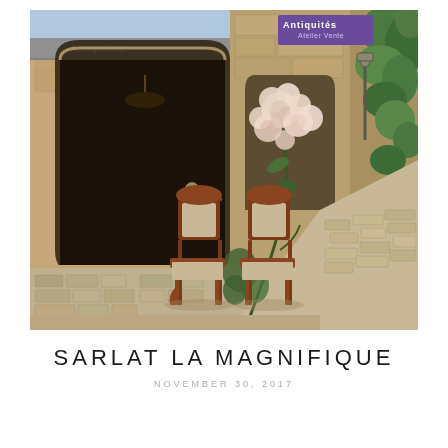[Figure (photo): Photograph of an antiquités (antiques) shop in Sarlat, France. Stone medieval architecture with arched doorway, two ornate wooden chairs with floral upholstery placed outside on cobblestone, climbing roses in bloom, ivy-covered walls, a purple sign reading 'Antiquités', a street lamp, and a sunny cobblestone street receding into the background.]
SARLAT LA MAGNIFIQUE
NOVEMBER 30, 2017